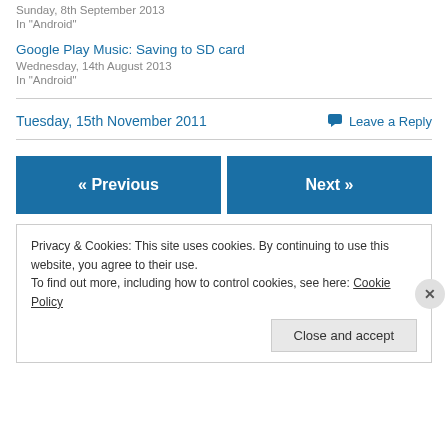Sunday, 8th September 2013
In "Android"
Google Play Music: Saving to SD card
Wednesday, 14th August 2013
In "Android"
Tuesday, 15th November 2011
Leave a Reply
« Previous
Next »
Privacy & Cookies: This site uses cookies. By continuing to use this website, you agree to their use.
To find out more, including how to control cookies, see here: Cookie Policy